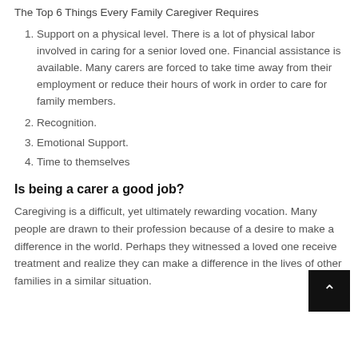The Top 6 Things Every Family Caregiver Requires
Support on a physical level. There is a lot of physical labor involved in caring for a senior loved one. Financial assistance is available. Many carers are forced to take time away from their employment or reduce their hours of work in order to care for family members.
Recognition.
Emotional Support.
Time to themselves
Is being a carer a good job?
Caregiving is a difficult, yet ultimately rewarding vocation. Many people are drawn to their profession because of a desire to make a difference in the world. Perhaps they witnessed a loved one receive treatment and realize they can make a difference in the lives of other families in a similar situation.